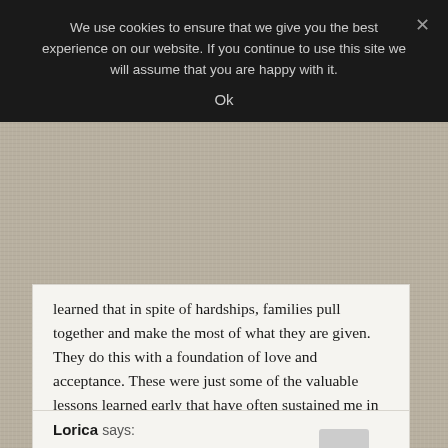We use cookies to ensure that we give you the best experience on our website. If you continue to use this site we will assume that you are happy with it.
Ok
learned that in spite of hardships, families pull together and make the most of what they are given. They do this with a foundation of love and acceptance. These were just some of the valuable lessons learned early that have often sustained me in later life.
Thank you Cheryl Ann, and may God continue to bless your memory.
Lorica says: